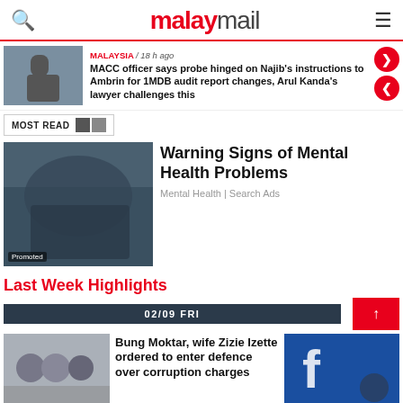malay mail
MALAYSIA / 18 h ago
MACC officer says probe hinged on Najib's instructions to Ambrin for 1MDB audit report changes, Arul Kanda's lawyer challenges this
MOST READ
Warning Signs of Mental Health Problems
Mental Health | Search Ads
Last Week Highlights
02/09 FRI
Bung Moktar, wife Zizie Izette ordered to enter defence over corruption charges